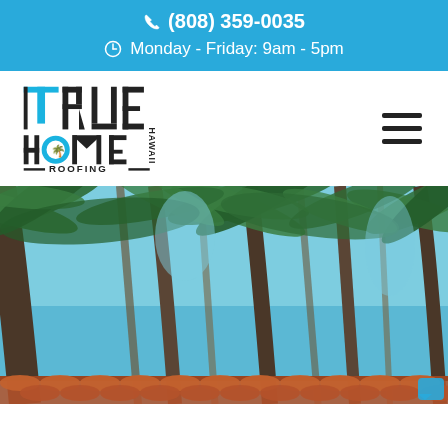(808) 359-0035 | Monday - Friday: 9am - 5pm
[Figure (logo): True Home Hawaii Roofing logo with palm tree icon]
[Figure (photo): Photograph of palm trees with blue sky and tiled rooftop visible at bottom]